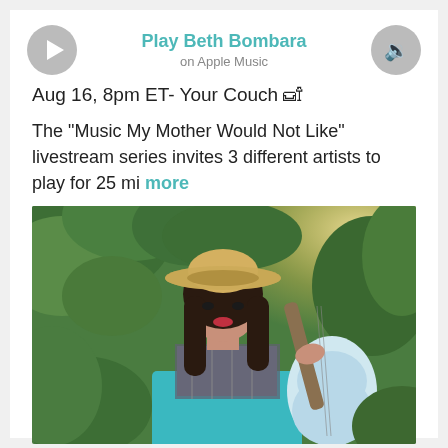Play Beth Bombara on Apple Music
Aug 16, 8pm ET- Your Couch 🛋
The "Music My Mother Would Not Like" livestream series invites 3 different artists to play for 25 mi more
[Figure (photo): Photo of Beth Bombara, a woman with long dark hair wearing a wide-brimmed straw hat and holding a light blue electric guitar, standing outdoors in front of green leafy foliage with warm sunlight in the background.]